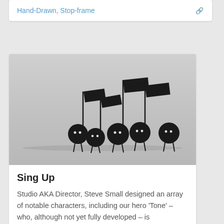Hand-Drawn, Stop-frame
[Figure (illustration): Black and white illustration of five anthropomorphic music note characters with round black heads, thin stick legs, and vertical stems topped with black flags, arranged in a row of varying heights against a light grey background.]
Sing Up
Studio AKA Director, Steve Small designed an array of notable characters, including our hero 'Tone' – who, although not yet fully developed – is encouraged to join in with the melody of his peers..
2D, Black & White, characters, Hand-Dr...